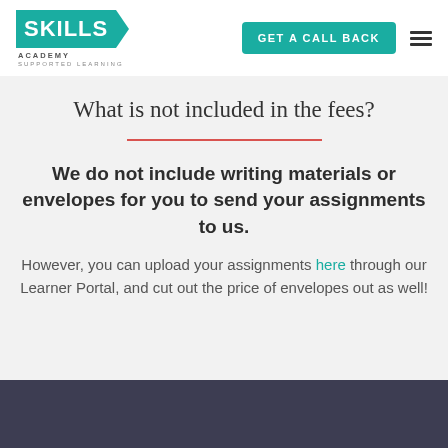[Figure (logo): Skills Academy - Supported Learning logo with teal background and white text]
GET A CALL BACK
What is not included in the fees?
We do not include writing materials or envelopes for you to send your assignments to us.
However, you can upload your assignments here through our Learner Portal, and cut out the price of envelopes out as well!